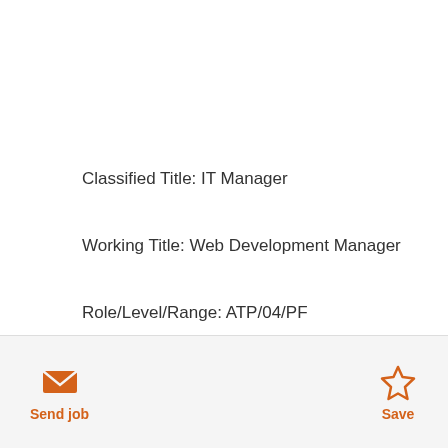Classified Title: IT Manager
Working Title: Web Development Manager
Role/Level/Range: ATP/04/PF
Starting Salary Range: $81,471.60 - $111,988.80
(Commensurate with experience)
Employee group: Full Time
Schedule: M-F, 8:30 am - 5:00 pm
Exempt Status: Exempt
Location: Hybrid/Homewood Campus
Department name: Press Information Systems
Send job  Save